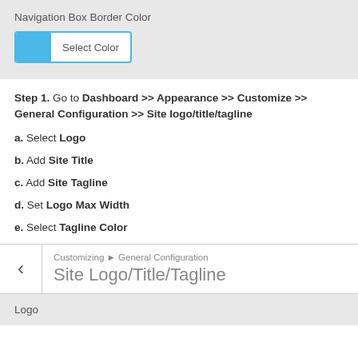[Figure (screenshot): Navigation Box Border Color setting UI with a blue color swatch button labeled 'Select Color']
Step 1. Go to Dashboard >> Appearance >> Customize >> General Configuration >> Site logo/title/tagline
a. Select Logo
b. Add Site Title
c. Add Site Tagline
d. Set Logo Max Width
e. Select Tagline Color
[Figure (screenshot): WordPress customizer screenshot showing breadcrumb 'Customizing > General Configuration' and heading 'Site Logo/Title/Tagline' with back arrow]
[Figure (screenshot): Logo section header in customizer panel with gray background]